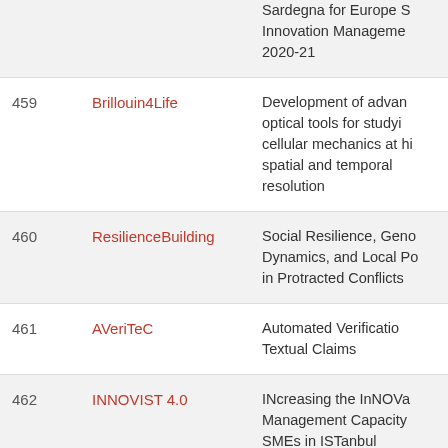| # | Name | Description |
| --- | --- | --- |
|  |  | Sardegna for Europe S... Innovation Management... 2020-21 |
| 459 | Brillouin4Life | Development of advan... optical tools for studyi... cellular mechanics at hi... spatial and temporal resolution |
| 460 | ResilienceBuilding | Social Resilience, Geno... Dynamics, and Local P... in Protracted Conflicts |
| 461 | AVeriTeC | Automated Verificatio... Textual Claims |
| 462 | INNOVIST 4.0 | INcreasing the InNOVa... Management Capacity... SMEs in ISTanbul |
| 463 | EvolInfome | The sources of histor... |